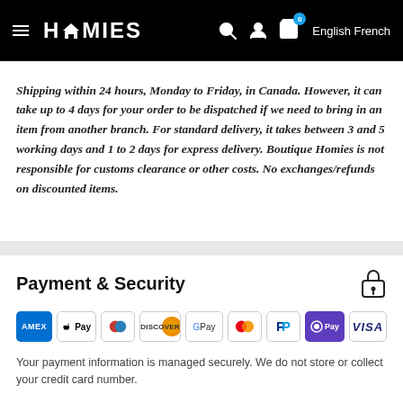HOMIES — English French
Shipping within 24 hours, Monday to Friday, in Canada. However, it can take up to 4 days for your order to be dispatched if we need to bring in an item from another branch. For standard delivery, it takes between 3 and 5 working days and 1 to 2 days for express delivery. Boutique Homies is not responsible for customs clearance or other costs. No exchanges/refunds on discounted items.
Payment & Security
[Figure (logo): Payment method icons: AMEX, Apple Pay, Diners Club, Discover, Google Pay, Mastercard, PayPal, OPay, VISA]
Your payment information is managed securely. We do not store or collect your credit card number.